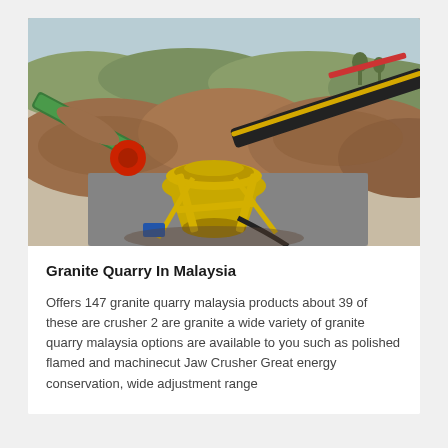[Figure (photo): Aerial/ground-level view of a granite quarry in Malaysia showing a yellow cone crusher machine surrounded by conveyor belts with large mounds of crushed red/brown granite material in the background and green hills visible in the far distance.]
Granite Quarry In Malaysia
Offers 147 granite quarry malaysia products about 39 of these are crusher 2 are granite a wide variety of granite quarry malaysia options are available to you such as polished flamed and machinecut Jaw Crusher Great energy conservation, wide adjustment range